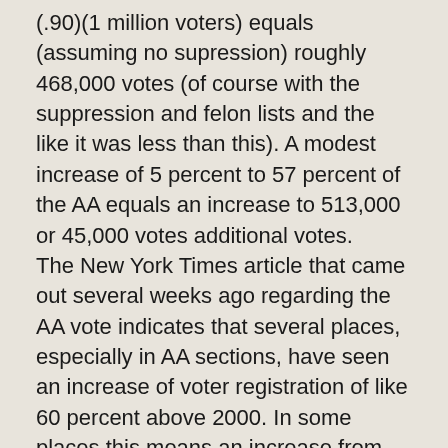(.90)(1 million voters) equals (assuming no supression) roughly 468,000 votes (of course with the suppression and felon lists and the like it was less than this). A modest increase of 5 percent to 57 percent of the AA equals an increase to 513,000 or 45,000 votes additional votes.
The New York Times article that came out several weeks ago regarding the AA vote indicates that several places, especially in AA sections, have seen an increase of voter registration of like 60 percent above 2000. In some places this means an increase from 75,000 to 120,000 new registrants. I expect the turn out despite my conservative estimate of 57 percent to be at 60 percent due to increased registration